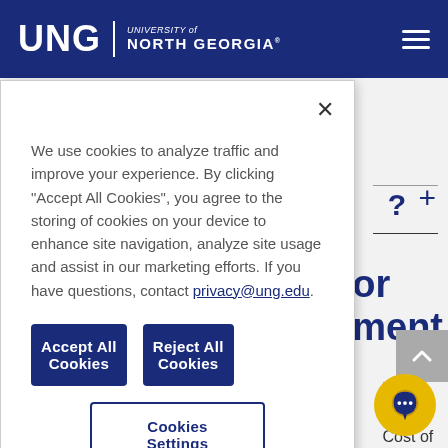[Figure (screenshot): University of North Georgia website header with navy blue background, UNG logo on left, hamburger menu icon on right]
We use cookies to analyze traffic and improve your experience. By clicking “Accept All Cookies”, you agree to the storing of cookies on your device to enhance site navigation, analyze site usage and assist in our marketing efforts. If you have questions, contact privacy@ung.edu.
Accept All Cookies
Reject All Cookies
Cookies Settings